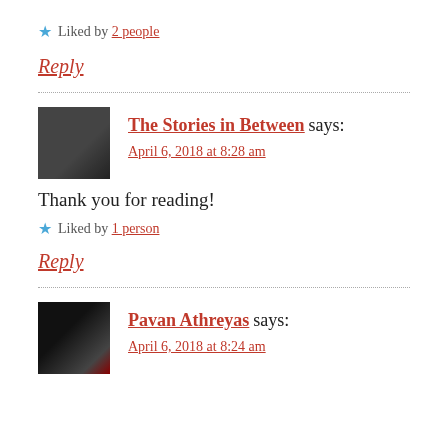★ Liked by 2 people
Reply
The Stories in Between says:
April 6, 2018 at 8:28 am
Thank you for reading!
★ Liked by 1 person
Reply
Pavan Athreyas says:
April 6, 2018 at 8:24 am